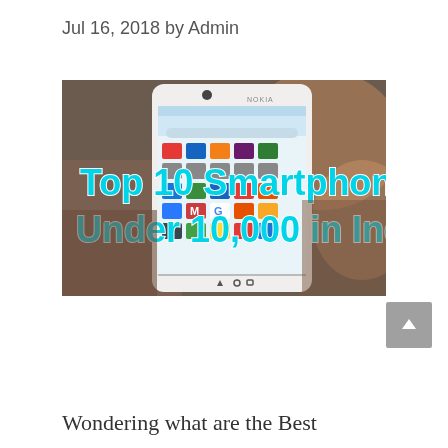Jul 16, 2018 by Admin
[Figure (photo): A hand holding a Nokia smartphone displaying an Android app drawer, with overlaid text reading 'Top 10 Smartphones Under 10,000 in India' in large cyan bold font with white outline.]
Wondering what are the Best